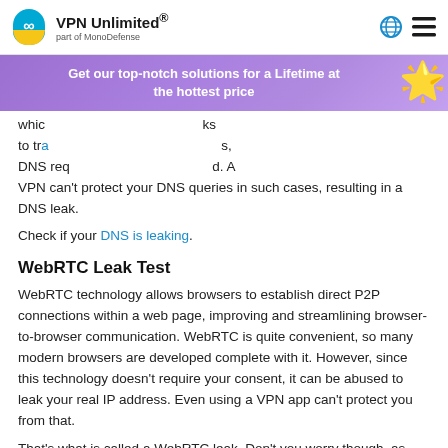VPN Unlimited® part of MonoDefense
[Figure (infographic): Purple promotional banner with text 'Get our top-notch solutions for a Lifetime at the hottest price' and a starfish emoji decoration on the right]
which... ks to tra... s, DNS req... d. A VPN can't protect your DNS queries in such cases, resulting in a DNS leak.
Check if your DNS is leaking.
WebRTC Leak Test
WebRTC technology allows browsers to establish direct P2P connections within a web page, improving and streamlining browser-to-browser communication. WebRTC is quite convenient, so many modern browsers are developed complete with it. However, since this technology doesn't require your consent, it can be abused to leak your real IP address. Even using a VPN app can't protect you from that.
That's what is called a WebRTC leak. Don't you worry though, as there are still ways to prevent them. First, you can disable WebRTC in your browser. Or, perhaps even more convenient, you can use the